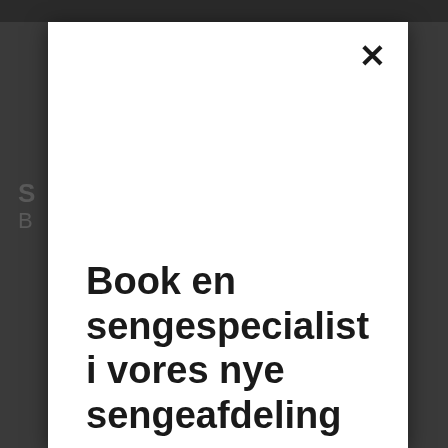[Figure (screenshot): A modal dialog overlay on a dark website background. The modal is a white rectangle with a close button (×) in the top-right corner. The modal contains bold text reading 'Book en sengespecialist i vores nye sengeafdeling'. Behind the modal, partially visible text shows 'S' and 'B' on a dark grey background.]
Book en sengespecialist i vores nye sengeafdeling